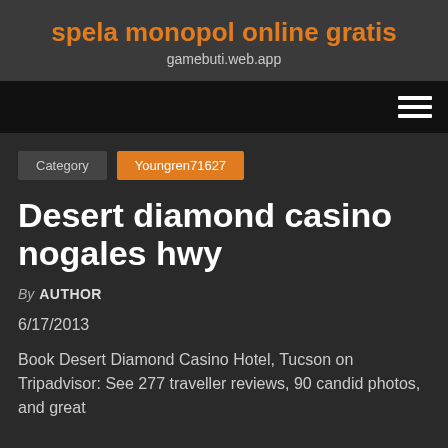spela monopol online gratis
gamebuti.web.app
[Figure (other): Navigation bar with hamburger menu icon (three horizontal white lines) on black background]
Category   Youngren71627
Desert diamond casino nogales hwy
By AUTHOR
6/17/2013
Book Desert Diamond Casino Hotel, Tucson on Tripadvisor: See 277 traveller reviews, 90 candid photos, and great